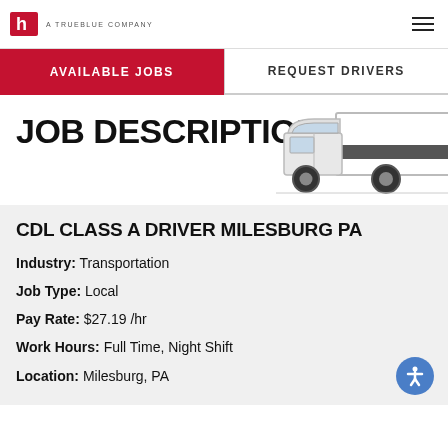A TRUEBLUE COMPANY
AVAILABLE JOBS | REQUEST DRIVERS
JOB DESCRIPTION
[Figure (illustration): Illustration of a white delivery truck / box truck viewed from the side]
CDL CLASS A DRIVER MILESBURG PA
Industry: Transportation
Job Type: Local
Pay Rate: $27.19 /hr
Work Hours: Full Time, Night Shift
Location: Milesburg, PA